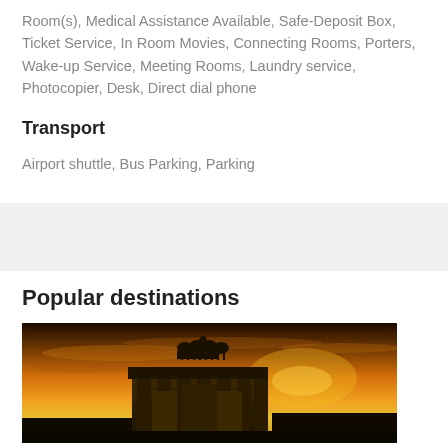Room(s), Medical Assistance Available, Safe-Deposit Box, Ticket Service, In Room Movies, Connecting Rooms, Porters, Wake-up Service, Meeting Rooms, Laundry service, Photocopier, Desk, Direct dial phone
Transport
Airport shuttle, Bus Parking, Parking
[Figure (other): Gray band / placeholder section separator]
Popular destinations
[Figure (photo): Photo of the Brandenburg Gate in Berlin at sunset/dusk with dramatic orange and golden sky]